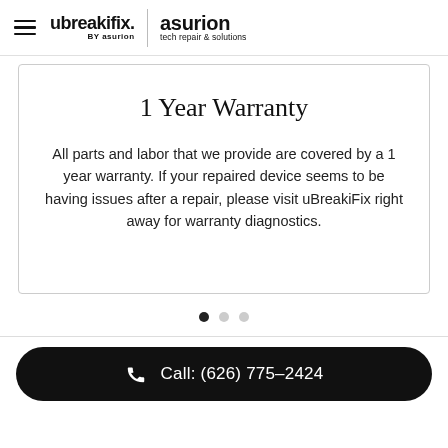ubreakifix. by asurion | asurion tech repair & solutions
1 Year Warranty
All parts and labor that we provide are covered by a 1 year warranty. If your repaired device seems to be having issues after a repair, please visit uBreakiFix right away for warranty diagnostics.
Call: (626) 775-2424